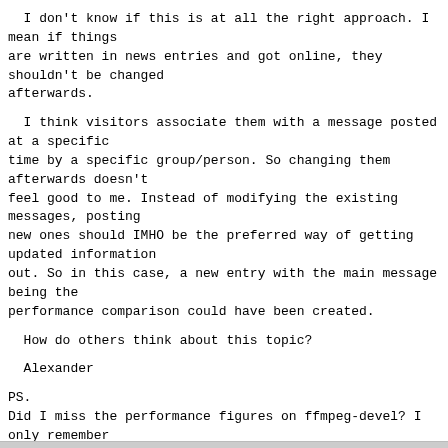I don't know if this is at all the right approach. I mean if things
are written in news entries and got online, they shouldn't be changed
afterwards.
I think visitors associate them with a message posted at a specific
time by a specific group/person. So changing them afterwards doesn't
feel good to me. Instead of modifying the existing messages, posting
new ones should IMHO be the preferred way of getting updated information
out. So in this case, a new entry with the main message being the
performance comparison could have been created.
How do others think about this topic?
Alexander
PS.
Did I miss the performance figures on ffmpeg-devel? I only remember
someone complaining about measurement methods.